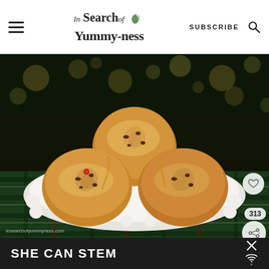In Search of Yummy-ness | SUBSCRIBE
[Figure (photo): Three glazed cinnamon rolls with dark fruit filling on a white scalloped plate, set on a plaid tablecloth with bokeh Christmas lights in the background. Watermark: insearchofyummyness.com]
313
SHE CAN STEM